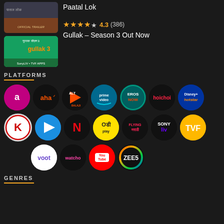Paatal Lok
4.3 (386)
Gullak – Season 3 Out Now
PLATFORMS
[Figure (other): Grid of streaming platform logos: Airtel Xstream, aha, ALTBalaji, Prime Video, Eros Now, Hoichoi, Disney+ Hotstar, K (Kooku), Play (generic), Netflix, OTTplay, Fauji Marathi, Sony Liv, TVF, Voot, Watcho, YouTube, ZEE5]
GENRES